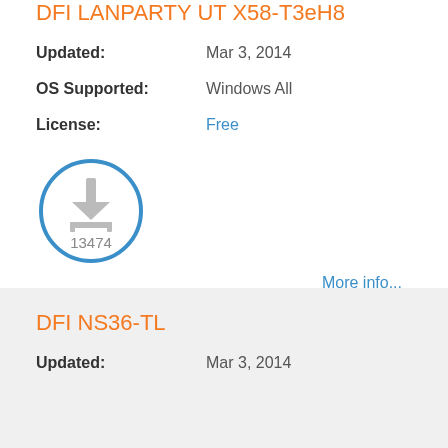DFI LANPARTY UT X58-T3eH8
Updated: Mar 3, 2014
OS Supported: Windows All
License: Free
[Figure (infographic): Download icon inside a blue circle with download count 13474]
More info...
DFI NS36-TL
Updated: Mar 3, 2014